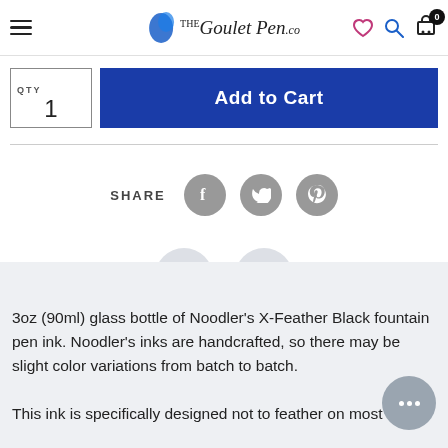The Goulet Pen Co — Navigation header with hamburger menu, logo, heart icon, search icon, and cart with 0 items
QTY 1
Add to Cart
SHARE
[Figure (other): Facebook, Twitter, and Pinterest social share icons as grey circles with white logos]
3oz (90ml) glass bottle of Noodler's X-Feather Black fountain pen ink. Noodler's inks are handcrafted, so there may be slight color variations from batch to batch.

This ink is specifically designed not to feather on most